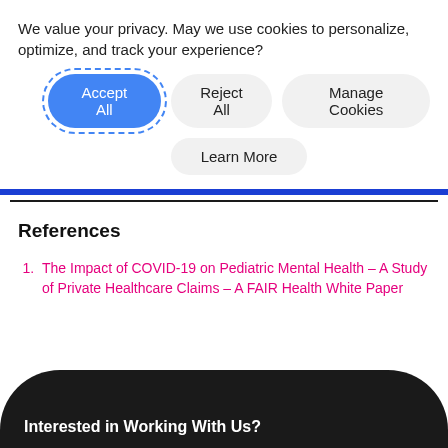We value your privacy. May we use cookies to personalize, optimize, and track your experience?
Accept All | Reject All | Manage Cookies
Learn More
References
The Impact of COVID-19 on Pediatric Mental Health – A Study of Private Healthcare Claims – A FAIR Health White Paper
Interested in Working With Us?